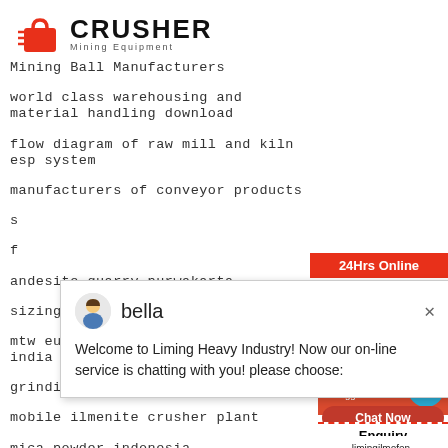[Figure (logo): Crusher Mining Equipment logo with red shopping bag icon and bold CRUSHER text]
Mining Ball Manufacturers
world class warehousing and material handling download
flow diagram of raw mill and kiln esp system
manufacturers of conveyor products
[Figure (screenshot): Live chat popup with avatar of bella saying: Welcome to Liming Heavy Industry! Now our on-line service is chatting with you! please choose:]
andesite quarry purwakarta
sizing dust collector for crusher
mtw european trapezium mill price india
grinding process aided
mobile ilmenite crusher plant
mica powder indonesia